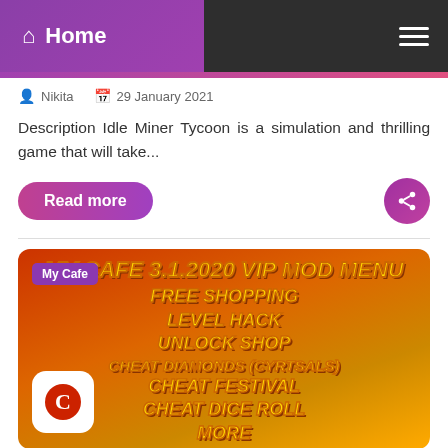Home
Nikita   29 January 2021
Description Idle Miner Tycoon is a simulation and thrilling game that will take...
Read more
[Figure (screenshot): My Cafe 3.1.2020 VIP MOD MENU game promo image showing: FREE SHOPPING, LEVEL HACK, UNLOCK SHOP, CHEAT DIAMONDS (CYRTSALS), CHEAT FESTIVAL, CHEAT DICE ROLL, MORE]